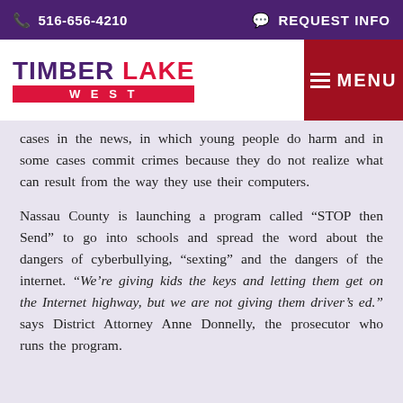516-656-4210   REQUEST INFO
[Figure (logo): Timber Lake West logo with red underline bar and WEST text]
cases in the news, in which young people do harm and in some cases commit crimes because they do not realize what can result from the way they use their computers.
Nassau County is launching a program called “STOP then Send” to go into schools and spread the word about the dangers of cyberbullying, “sexting” and the dangers of the internet. “We’re giving kids the keys and letting them get on the Internet highway, but we are not giving them driver’s ed.” says District Attorney Anne Donnelly, the prosecutor who runs the program.